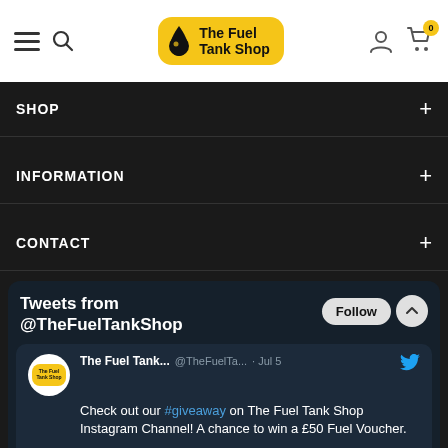The Fuel Tank Shop - navigation header with logo, search, user and cart icons
SHOP
INFORMATION
CONTACT
[Figure (screenshot): Twitter/X widget showing tweets from @TheFuelTankShop. Includes a tweet from Jul 5 reading: 'Check out our #giveaway on The Fuel Tank Shop Instagram Channel! A chance to win a £50 Fuel Voucher.' with link instagram.com/the_fuel_tank_...]
Tweets from @TheFuelTankShop
The Fuel Tank... @TheFuelTa... · Jul 5
Check out our #giveaway on The Fuel Tank Shop Instagram Channel! A chance to win a £50 Fuel Voucher.
instagram.com/the_fuel_tank_...